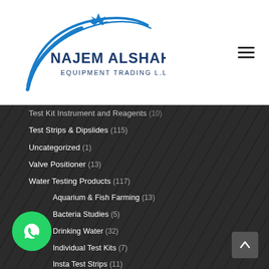Najem Alshahab Equipment Trading L.L.C
Test Kit Instrument and Reagents (10)
Test Strips & Dipslides (115)
Uncategorized (1)
Valve Positioner (13)
Water Testing Products (117)
Aquarium & Fish Farming (13)
Bacteria Studies (5)
Drinking Water (32)
Individual Test Kits (7)
Insta Test Strips (11)
Instrumentation (9)